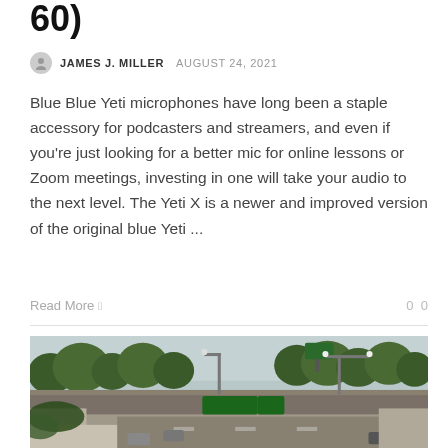60)
JAMES J. MILLER  AUGUST 24, 2021
Blue Blue Yeti microphones have long been a staple accessory for podcasters and streamers, and even if you’re just looking for a better mic for online lessons or Zoom meetings, investing in one will take your audio to the next level. The Yeti X is a newer and improved version of the original blue Yeti ...
Read More  ▸  0  0
[Figure (photo): Highway overpass scene with multiple lanes of traffic, green highway signs, street lights, trees in background, and concrete barriers.]